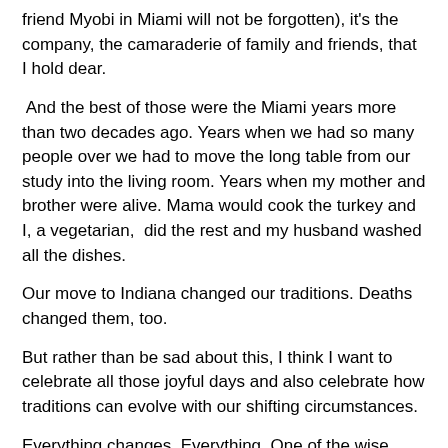friend Myobi in Miami will not be forgotten), it's the company, the camaraderie of family and friends, that I hold dear.
And the best of those were the Miami years more than two decades ago. Years when we had so many people over we had to move the long table from our study into the living room. Years when my mother and brother were alive. Mama would cook the turkey and I, a vegetarian,  did the rest and my husband washed all the dishes.
Our move to Indiana changed our traditions. Deaths changed them, too.
But rather than be sad about this, I think I want to celebrate all those joyful days and also celebrate how traditions can evolve with our shifting circumstances.
Everything changes. Everything. One of the wise things we can learn as we age is how to ride those changes like great waves. If we're lucky we might be able to do it with the same exuberance and exhilaration as a sunkissed  surfer.